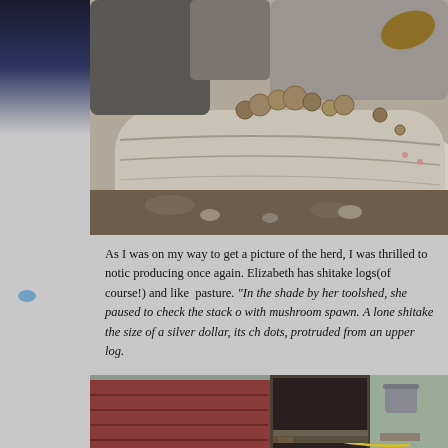[Figure (photo): Photo of mushroom logs stacked outdoors with shitake mushrooms growing on them, viewed from above at an angle.]
As I was on my way to get a picture of the herd, I was thrilled to notice the shitake logs producing once again. Elizabeth has shitake logs(of course!) and like me, they are out in the pasture. "In the shade by her toolshed, she paused to check the stack of logs inoculated with mushroom spawn. A lone shitake the size of a silver dollar, its chocolate cap flecked with dots, protruded from an upper log.
[Figure (photo): Photo of a barn or shed exterior with weathered red wooden boards and farm equipment/items near the entrance.]